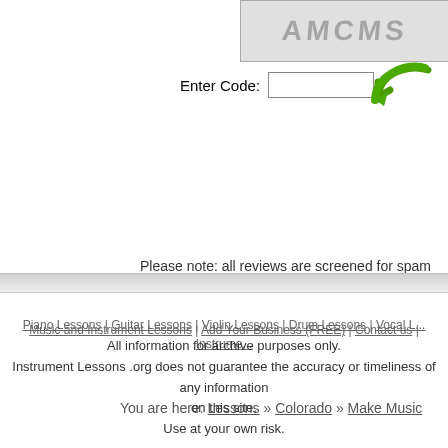[Figure (other): CAPTCHA image with text 'AMCMS' in grey dotted/textured style]
Enter Code:
[Figure (other): Green curved arrow (submit/enter indicator)]
Post My Revi...
Please note: all reviews are screened for spam
You are here: Lessons » Colorado » Make Music
Piano Lessons | Guitar Lessons | Violin Lessons | Drum Lessons | Vocal L...
Music and Instrument Lessons | Add Your Business (FREE) | Contact us | Instrume...
All information for archive purposes only.
Instrument Lessons .org does not guarantee the accuracy or timeliness of any information on this site.
Use at your own risk.